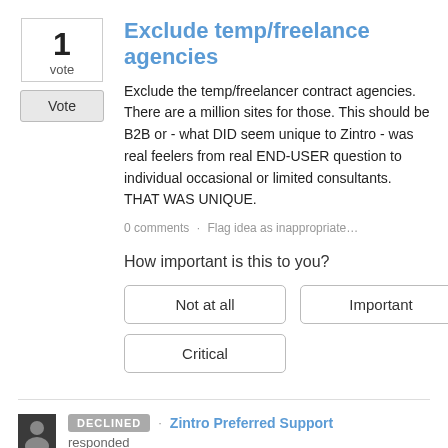Exclude temp/freelance agencies
Exclude the temp/freelancer contract agencies. There are a million sites for those. This should be B2B or - what DID seem unique to Zintro - was real feelers from real END-USER question to individual occasional or limited consultants. THAT WAS UNIQUE.
0 comments · Flag idea as inappropriate…
How important is this to you?
Not at all   Important   Critical
DECLINED · Zintro Preferred Support responded
We are focusing our efforts on Market Research, PE, VC firms and medium size